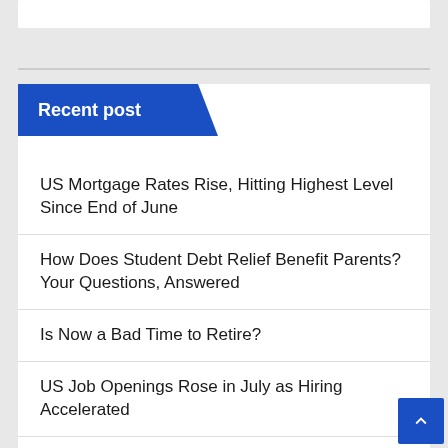Recent post
US Mortgage Rates Rise, Hitting Highest Level Since End of June
How Does Student Debt Relief Benefit Parents? Your Questions, Answered
Is Now a Bad Time to Retire?
US Job Openings Rose in July as Hiring Accelerated
Inflation Rate Drops After Powell Speech...